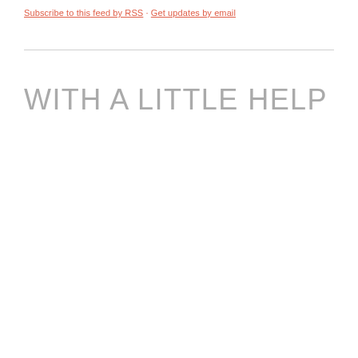Subscribe to this feed by RSS · Get updates by email
WITH A LITTLE HELP